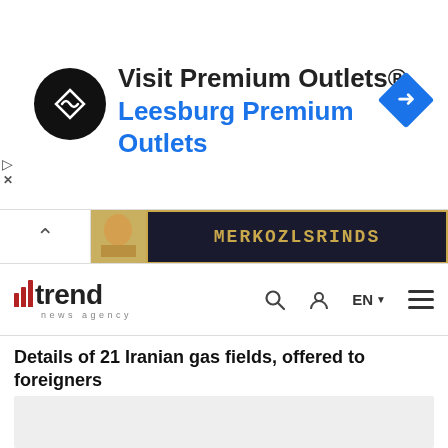[Figure (screenshot): Advertisement banner for Visit Premium Outlets / Leesburg Premium Outlets with circular logo and blue diamond navigation icon]
[Figure (screenshot): Secondary advertisement strip with gold text MERKOZLSRINDS on dark background]
[Figure (screenshot): Trend News Agency navigation bar with logo, search, user, EN language selector, and hamburger menu]
Details of 21 Iranian gas fields, offered to foreigners